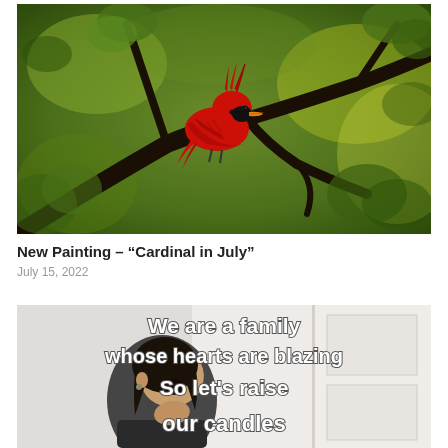[Figure (illustration): Oil painting of a red cardinal bird perched on a dark tree branch, surrounded by green and yellow-green foliage and tree branches against a warm background.]
New Painting – "Cardinal in July"
July 15, 2022
[Figure (photo): Photo/screenshot of a woman singing or speaking with her head tilted back, overlaid with white text reading: 'We are a family whose hearts are blazing So let's raise our candles']